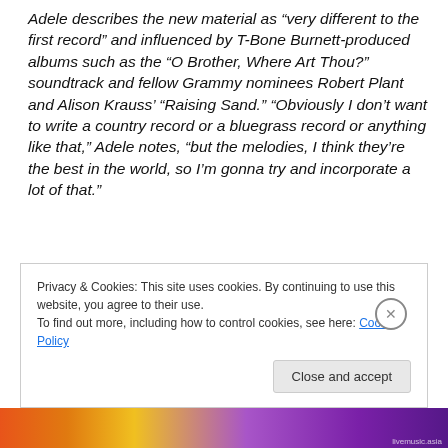Adele describes the new material as “very different to the first record” and influenced by T-Bone Burnett-produced albums such as the “O Brother, Where Art Thou?” soundtrack and fellow Grammy nominees Robert Plant and Alison Krauss’ “Raising Sand.” “Obviously I don’t want to write a country record or a bluegrass record or anything like that,” Adele notes, “but the melodies, I think they’re the best in the world, so I’m gonna try and incorporate a lot of that.”
Privacy & Cookies: This site uses cookies. By continuing to use this website, you agree to their use. To find out more, including how to control cookies, see here: Cookie Policy